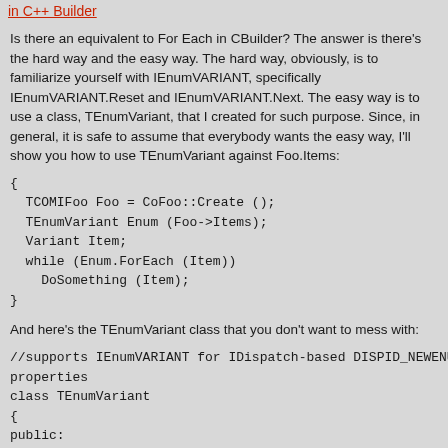in C++ Builder
Is there an equivalent to For Each in CBuilder? The answer is there's the hard way and the easy way. The hard way, obviously, is to familiarize yourself with IEnumVARIANT, specifically IEnumVARIANT.Reset and IEnumVARIANT.Next. The easy way is to use a class, TEnumVariant, that I created for such purpose. Since, in general, it is safe to assume that everybody wants the easy way, I'll show you how to use TEnumVariant against Foo.Items:
{
  TCOMIFoo Foo = CoFoo::Create ();
  TEnumVariant Enum (Foo->Items);
  Variant Item;
  while (Enum.ForEach (Item))
    DoSomething (Item);
}
And here's the TEnumVariant class that you don't want to mess with:
//supports IEnumVARIANT for IDispatch-based DISPID_NEWENUM properties
class TEnumVariant
{
public:
  TEnumVariant () : mEnum (0)
  {
  }